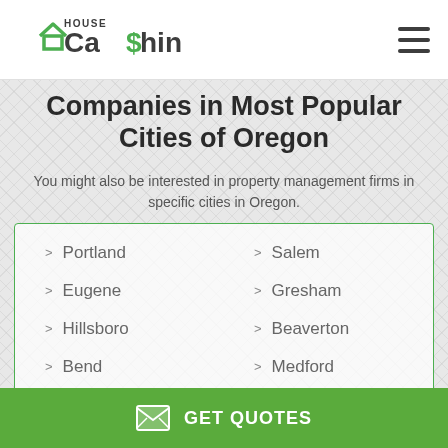House Cashin
Companies in Most Popular Cities of Oregon
You might also be interested in property management firms in specific cities in Oregon.
Portland
Salem
Eugene
Gresham
Hillsboro
Beaverton
Bend
Medford
Springfield
Corvallis
GET QUOTES